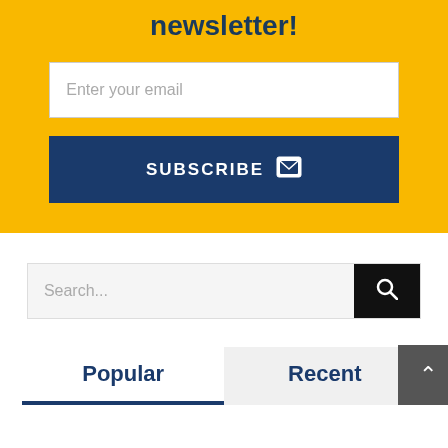newsletter!
Enter your email
SUBSCRIBE
Search...
Popular
Recent